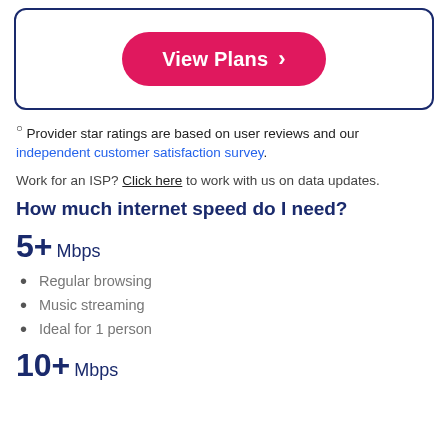[Figure (other): Card box with a pink 'View Plans >' button inside a navy-bordered rounded rectangle]
° Provider star ratings are based on user reviews and our independent customer satisfaction survey.
Work for an ISP? Click here to work with us on data updates.
How much internet speed do I need?
5+ Mbps
Regular browsing
Music streaming
Ideal for 1 person
10+ Mbps